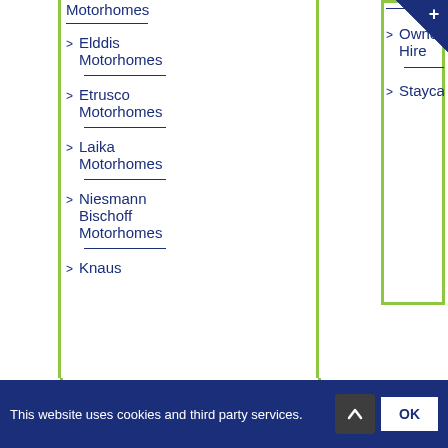Motorhomes
Elddis Motorhomes
Etrusco Motorhomes
Laika Motorhomes
Niesmann Bischoff Motorhomes
Knaus
Owners Hire
Staycations
CARAVANS
Caravan Servicing
Caravans
This website uses cookies and third party services.